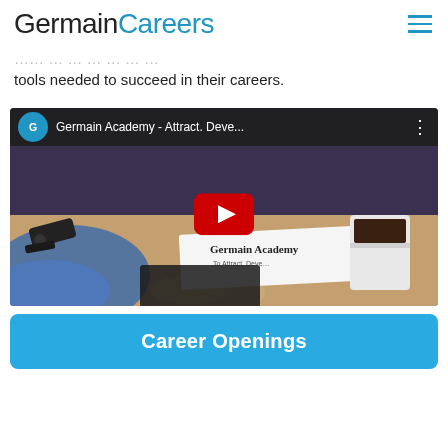GermainCareers
tools needed to succeed in their careers.
[Figure (screenshot): YouTube video embed thumbnail showing Germain Academy - Attract. Deve... with a play button overlay. Background shows a desk scene with a Germain Academy card, car keys, and a coffee cup.]
Career Openings